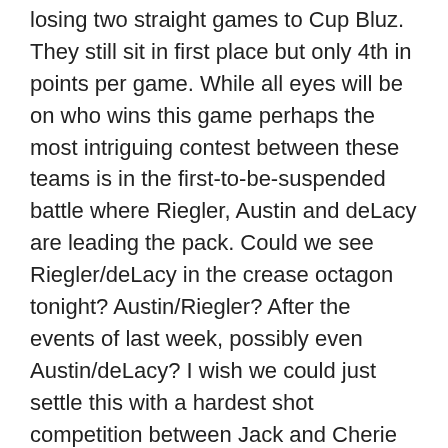losing two straight games to Cup Bluz. They still sit in first place but only 4th in points per game. While all eyes will be on who wins this game perhaps the most intriguing contest between these teams is in the first-to-be-suspended battle where Riegler, Austin and deLacy are leading the pack. Could we see Riegler/deLacy in the crease octagon tonight? Austin/Riegler? After the events of last week, possibly even Austin/deLacy? I wish we could just settle this with a hardest shot competition between Jack and Cherie but seeing as we actually have to play this game, I'm taking the Hooligans to keep their momentum going and pick up a hard fought victory.
BONUS PROPS
First Period Line